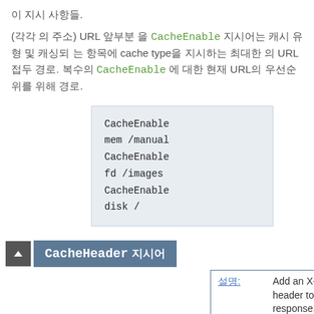이 지시 사항들.
(각각 의 주소) URL 앞부분 을 CacheEnable 지시 지시어 캐싱되 는 항목에 cache type을 지시하는 최대한 의 URL 접두 경로. 복수의 CacheEnable 에 대한 현재 URL의 우선순위를 위해 경로.
CacheEnable mem /manual
CacheEnable fd /images
CacheEnable disk /
CacheHeader 지시어
| 레이블 | 값 |
| --- | --- |
| 설명: | Add an X-Cache header to the response. |
| 문법: |  |
| 사용가능: | 서버설정, 가상호스트, directory, .htaccess |
| 상태: | Experimental |